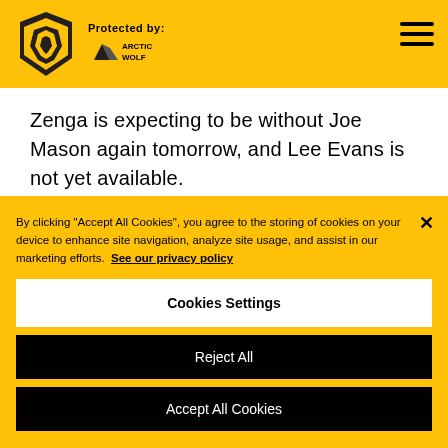Protected by: Arctic Wolf
Zenga is expecting to be without Joe Mason again tomorrow, and Lee Evans is not yet available.
By clicking "Accept All Cookies", you agree to the storing of cookies on your device to enhance site navigation, analyze site usage, and assist in our marketing efforts. See our privacy policy
Cookies Settings
Reject All
Accept All Cookies